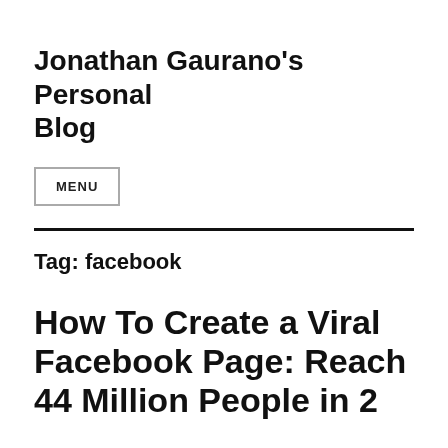Jonathan Gaurano's Personal Blog
MENU
Tag: facebook
How To Create a Viral Facebook Page: Reach 44 Million People in 2